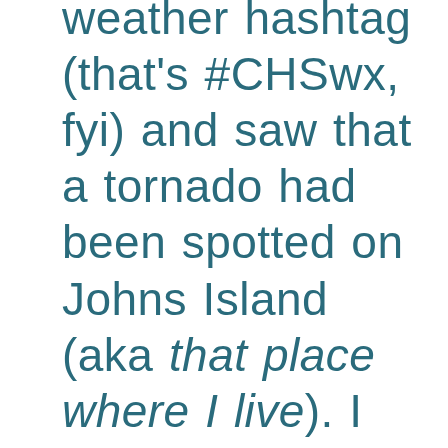weather hashtag (that's #CHSwx, fyi) and saw that a tornado had been spotted on Johns Island (aka that place where I live). I woke up my roommate and together we huddled in the dark on the floor of the downstairs half bathroom, the only light we had shining from the screens of our phones.